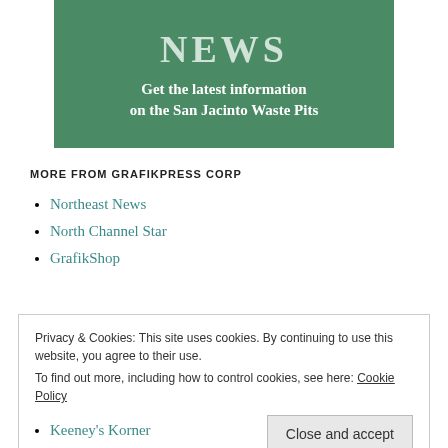[Figure (illustration): Green banner with bold 'NEWS' heading and subtitle 'Get the latest information on the San Jacinto Waste Pits']
MORE FROM GRAFIKPRESS CORP
Northeast News
North Channel Star
GrafikShop
Privacy & Cookies: This site uses cookies. By continuing to use this website, you agree to their use.
To find out more, including how to control cookies, see here: Cookie Policy
Close and accept
Keeney's Korner